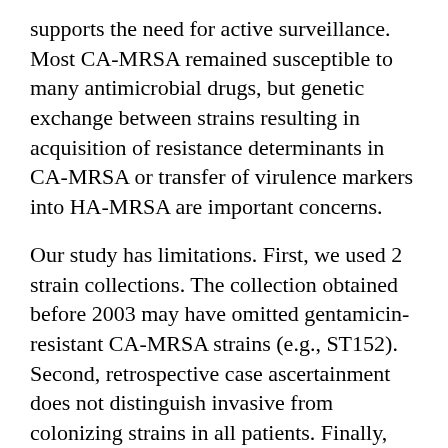supports the need for active surveillance. Most CA-MRSA remained susceptible to many antimicrobial drugs, but genetic exchange between strains resulting in acquisition of resistance determinants in CA-MRSA or transfer of virulence markers into HA-MRSA are important concerns.
Our study has limitations. First, we used 2 strain collections. The collection obtained before 2003 may have omitted gentamicin-resistant CA-MRSA strains (e.g., ST152). Second, retrospective case ascertainment does not distinguish invasive from colonizing strains in all patients. Finally, we cannot exclude detection bias caused by our active MRSA screening policy (6,7).
In summary, increasing incidence of PVL-producing type IV CA-MRSA isolates is worrisome and indicates emergence of new MRSA lineages with a particular